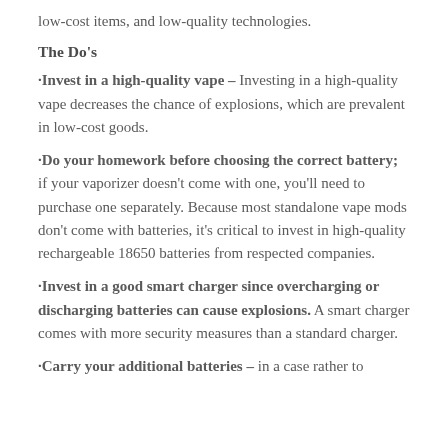low-cost items, and low-quality technologies.
The Do's
·Invest in a high-quality vape – Investing in a high-quality vape decreases the chance of explosions, which are prevalent in low-cost goods.
·Do your homework before choosing the correct battery; if your vaporizer doesn't come with one, you'll need to purchase one separately. Because most standalone vape mods don't come with batteries, it's critical to invest in high-quality rechargeable 18650 batteries from respected companies.
·Invest in a good smart charger since overcharging or discharging batteries can cause explosions. A smart charger comes with more security measures than a standard charger.
·Carry your additional batteries – in a case rather to